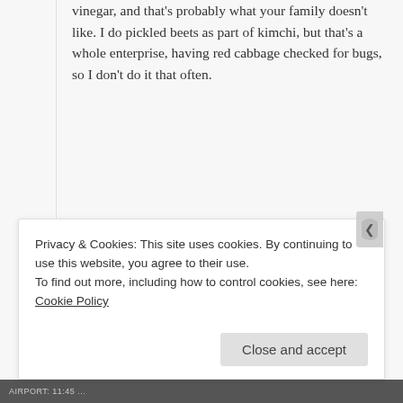vinegar, and that's probably what your family doesn't like. I do pickled beets as part of kimchi, but that's a whole enterprise, having red cabbage checked for bugs, so I don't do it that often.
★ Liked by 1 person
COOKING FOR THE TIME CHALLENGED
July 28, 2016 at 12:31 PM
I have to try it without the vinegar.
Privacy & Cookies: This site uses cookies. By continuing to use this website, you agree to their use. To find out more, including how to control cookies, see here: Cookie Policy
Close and accept